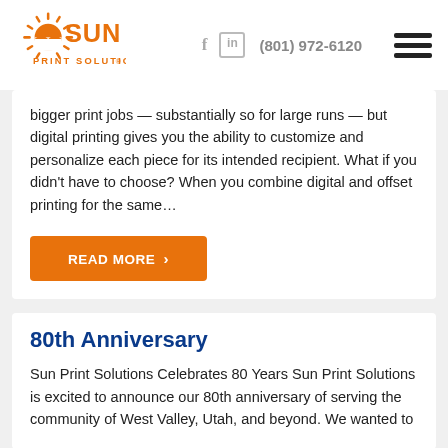[Figure (logo): Sun Print Solutions logo with orange sun graphic and orange text]
(801) 972-6120
bigger print jobs — substantially so for large runs — but digital printing gives you the ability to customize and personalize each piece for its intended recipient. What if you didn't have to choose? When you combine digital and offset printing for the same…
READ MORE  >
80th Anniversary
Sun Print Solutions Celebrates 80 Years Sun Print Solutions is excited to announce our 80th anniversary of serving the community of West Valley, Utah, and beyond. We wanted to